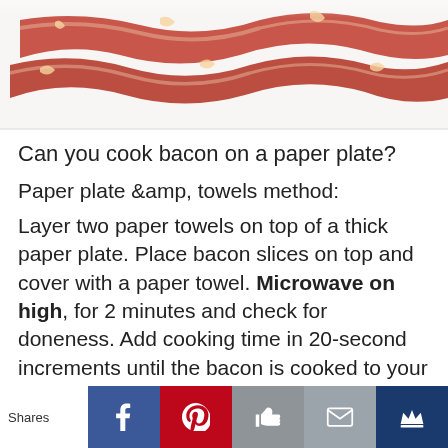[Figure (photo): Photo of cooked bacon strips on a white background]
Can you cook bacon on a paper plate?
Paper plate &amp; towels method:
Layer two paper towels on top of a thick paper plate. Place bacon slices on top and cover with a paper towel. Microwave on high, for 2 minutes and check for doneness. Add cooking time in 20-second increments until the bacon is cooked to your desired
Shares | Facebook | Pinterest | Like | Mail | Crown